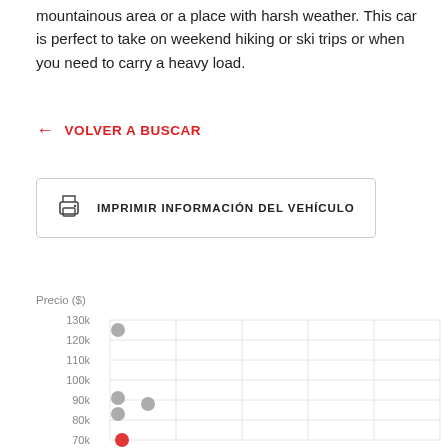mountainous area or a place with harsh weather. This car is perfect to take on weekend hiking or ski trips or when you need to carry a heavy load.
← VOLVER A BUSCAR
IMPRIMIR INFORMACIÓN DEL VEHÍCULO
[Figure (scatter-plot): Scatter plot showing vehicle prices on Y axis (70k-130k range). Points visible at approximately: 125k, 91k, 88k, 83k, 70k (red).]